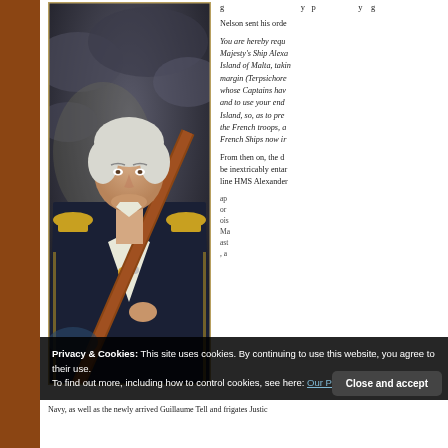[Figure (illustration): Portrait painting of a British naval officer in uniform with gold epaulettes, holding a telescope, painted against a stormy dark sky background. White-haired man in dark navy coat with gold trim and medals.]
Nelson sent his orde
You are hereby requ... Majesty's Ship Alexa... Island of Malta, takin... margin (Terpsichore... whose Captains hav... and to use your end... Island, so, as to pre... the French troops, a... French Ships now ir...
From then on, the d... be inextricably entar... line HMS Alexander...
Privacy & Cookies: This site uses cookies. By continuing to use this website, you agree to their use. To find out more, including how to control cookies, see here: Our Privacy Policy
Close and accept
Navy, as well as the newly arrived Guillaume Tell and frigates Justic...